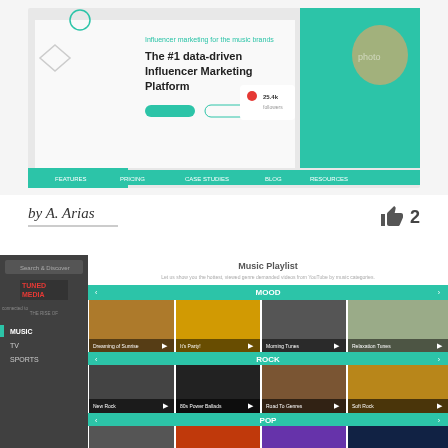[Figure (screenshot): Influencer marketing platform website screenshot showing 'The #1 data-driven Influencer Marketing Platform' text with a woman wearing headphones on teal background]
by A. Arias
2
[Figure (screenshot): Music Playlist app UI screenshot showing Tuned Media interface with MOOD, ROCK, POP, and DANCE/ELECTRONIC categories each with 4 thumbnail video previews]